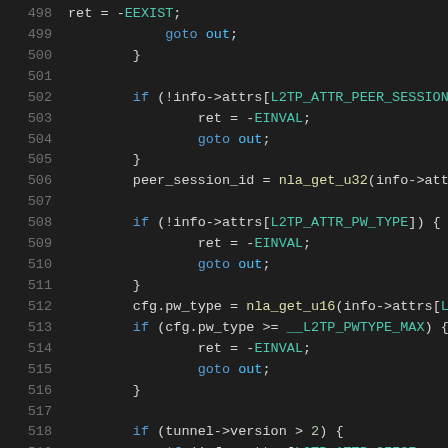[Figure (screenshot): Source code listing showing C kernel code lines 498-519 with syntax highlighting. Dark background IDE view. Lines show L2TP session handling code with if-checks for attributes, ret=-EINVAL, goto out patterns, and peer_session_id/cfg.pw_type assignments.]